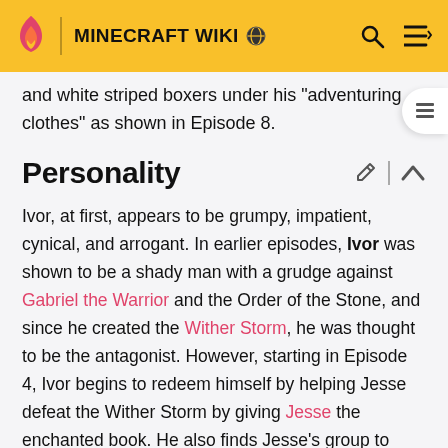MINECRAFT WIKI
and white striped boxers under his "adventuring clothes" as shown in Episode 8.
Personality
Ivor, at first, appears to be grumpy, impatient, cynical, and arrogant. In earlier episodes, Ivor was shown to be a shady man with a grudge against Gabriel the Warrior and the Order of the Stone, and since he created the Wither Storm, he was thought to be the antagonist. However, starting in Episode 4, Ivor begins to redeem himself by helping Jesse defeat the Wither Storm by giving Jesse the enchanted book. He also finds Jesse's group to warn them about the Wither Storms following